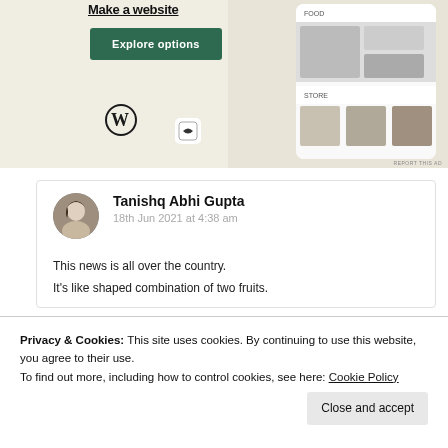[Figure (screenshot): WordPress/website builder advertisement banner with 'Explore options' green button, WordPress logo, and phone mockup showing food website]
Tanishq Abhi Gupta
18th Jun 2021 at 4:38 am
This news is all over the country.
Privacy & Cookies: This site uses cookies. By continuing to use this website, you agree to their use.
To find out more, including how to control cookies, see here: Cookie Policy
It's like shaped combination of two fruits.